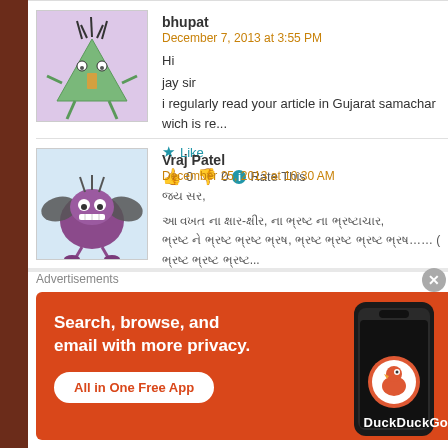bhupat
December 7, 2013 at 3:55 PM
Hi
jay sir
i regularly read your article in Gujarat samachar wich is re...
★ Like
👍 0 👎 0 ℹ Rate This
Vraj Patel
December 25, 2013 at 10:30 AM
જય સર,
આ વખત ના ક્ષાર-ક્ષીર, ના ભ્રષ્ટ ના ભ્રષ્ટાચાર, ભ્રષ્ટ ને ભ્રષ્ટ ગણવા ના, ભ્રષ્ટ ભ્રષ્ટને ભ્રષ્ટ ગણો… ( ભ્રષ્ટ ભ્રષ્ટ ભ્રષ્ટ...
Advertisements
[Figure (screenshot): DuckDuckGo advertisement: Search, browse, and email with more privacy. All in One Free App. Shows a dark smartphone with DuckDuckGo logo on orange background.]